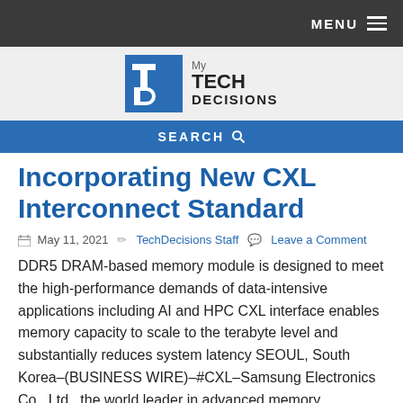MENU
[Figure (logo): My TechDecisions logo with blue TD monogram square and text]
SEARCH
Incorporating New CXL Interconnect Standard
May 11, 2021  TechDecisions Staff  Leave a Comment
DDR5 DRAM-based memory module is designed to meet the high-performance demands of data-intensive applications including AI and HPC CXL interface enables memory capacity to scale to the terabyte level and substantially reduces system latency SEOUL, South Korea–(BUSINESS WIRE)–#CXL–Samsung Electronics Co., Ltd., the world leader in advanced memory technology, today unveiled the industry's first memory module